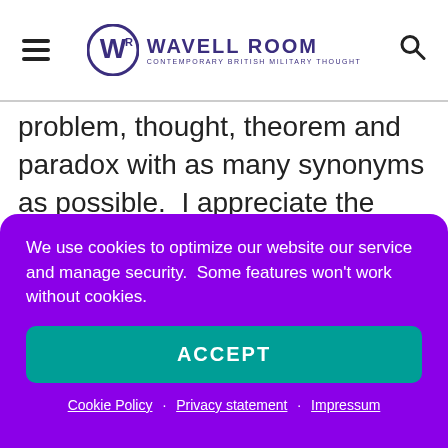Wavell Room — Contemporary British Military Thought
problem, thought, theorem and paradox with as many synonyms as possible.  I appreciate the author is a professional academic, who has clearly put in a significant amount of work to research and write this book, and I don't mean to casually dismiss that.  However, it takes just as much effort to write a bad book as a good one and my aim here is to point out
We use cookies to optimize our website our service and manage security.  Some features won't work without cookies.
ACCEPT
Cookie Policy · Privacy statement · Impressum